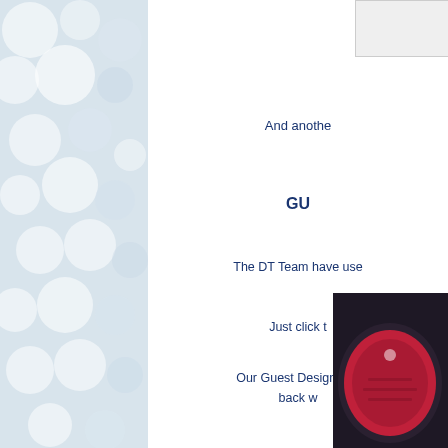[Figure (photo): Bokeh blur background with soft white/grey circles on left panel]
[Figure (photo): Small partially visible image box at top right]
And anothe
GU
The DT Team have use
Just click t
Our Guest Designer is back w
[Figure (photo): Partial photo of red/crimson textile or craft work on dark background, bottom right]